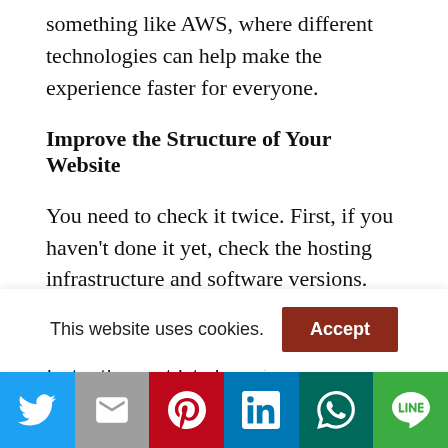something like AWS, where different technologies can help make the experience faster for everyone.
Improve the Structure of Your Website
You need to check it twice. First, if you haven’t done it yet, check the hosting infrastructure and software versions. Updated versions of operating systems, web servers, coding structures are often faster than outdated versions. Sometimes all you need to do is upgrade the system software for your servers, and your website becomes considerably
This website uses cookies.
[Figure (infographic): Social sharing bar with Twitter, Gmail, Pinterest, LinkedIn, WhatsApp, and LINE buttons]